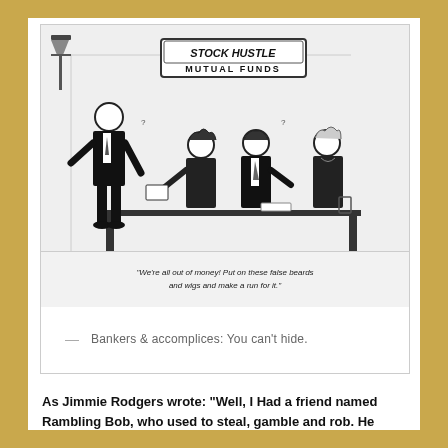[Figure (illustration): Cartoon showing a financial advisor at 'Stock Hustle Mutual Funds' office telling clients to put on false beards and wigs and make a run for it. Caption reads: "We're all out of money! Put on these false beards and wigs and make a run for it." Reproduction rights from www.CartoonStock.com.]
— Bankers & accomplices: You can't hide.
As Jimmie Rodgers wrote: “Well, I Had a friend named Rambling Bob, who used to steal, gamble and rob. He thought he was the smartest guy in town, but I found out last Monday that Bob got locked up Sunday. They got him in the jailhouse way